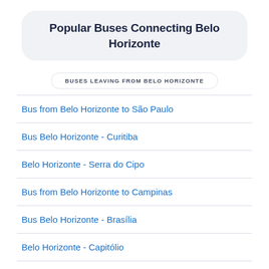Popular Buses Connecting Belo Horizonte
BUSES LEAVING FROM BELO HORIZONTE
Bus from Belo Horizonte to São Paulo
Bus Belo Horizonte - Curitiba
Belo Horizonte - Serra do Cipo
Bus from Belo Horizonte to Campinas
Bus Belo Horizonte - Brasília
Belo Horizonte - Capitólio